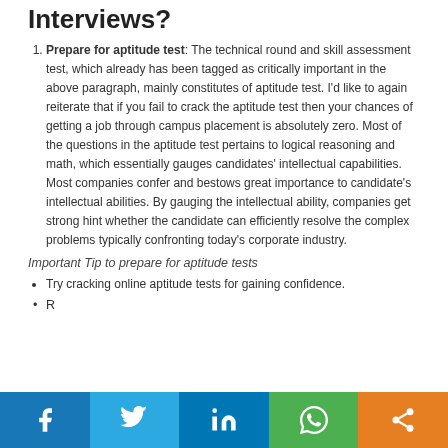Interviews?
Prepare for aptitude test: The technical round and skill assessment test, which already has been tagged as critically important in the above paragraph, mainly constitutes of aptitude test. I'd like to again reiterate that if you fail to crack the aptitude test then your chances of getting a job through campus placement is absolutely zero. Most of the questions in the aptitude test pertains to logical reasoning and math, which essentially gauges candidates' intellectual capabilities. Most companies confer and bestows great importance to candidate's intellectual abilities. By gauging the intellectual ability, companies get strong hint whether the candidate can efficiently resolve the complex problems typically confronting today's corporate industry.
Important Tip to prepare for aptitude tests
Try cracking online aptitude tests for gaining confidence.
(partial, cut off)